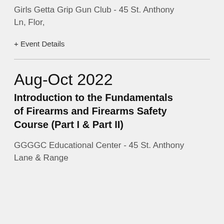Girls Getta Grip Gun Club - 45 St. Anthony Ln, Flor,
+ Event Details
Aug-Oct 2022
Introduction to the Fundamentals of Firearms and Firearms Safety Course (Part I & Part II)
GGGGC Educational Center - 45 St. Anthony Lane & Range